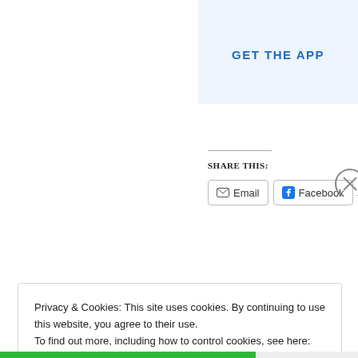GET THE APP
SHARE THIS:
Email | Facebook | Twitter
Privacy & Cookies: This site uses cookies. By continuing to use this website, you agree to their use.
To find out more, including how to control cookies, see here: Cookie Policy
Close and accept